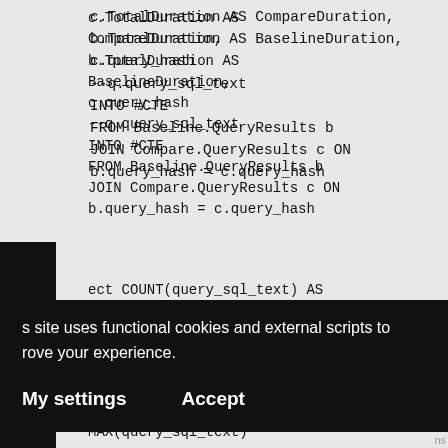c.TotalDuration AS CompareDuration,
b.TotalDuration AS BaselineDuration,
c.query_hash
--q.query_sql_text
INTO #CTE
FROM Baseline.QueryResults b
JOIN Compare.QueryResults c ON
b.query_hash = c.query_hash
ect COUNT(query_sql_text) AS
ryCount,
(query_sql_text)
ry_sql_text,
(query_id) MinQueryID,
.query_hash
O #Compare
m Compare.query_store_query
[Figure (other): Vertical black sidebar tab with text 'BOOK NOW' rotated vertically]
s site uses functional cookies and external scripts to improve your experience.
My settings    Accept
MAX(query_sql_text)